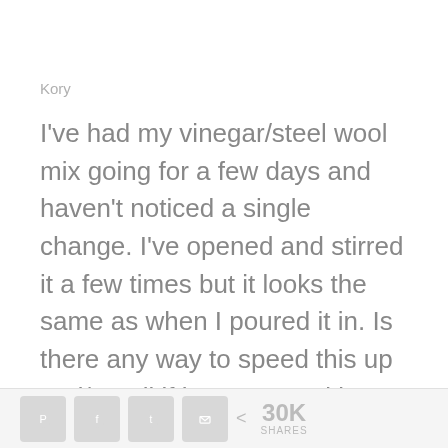Kory
I've had my vinegar/steel wool mix going for a few days and haven't noticed a single change. I've opened and stirred it a few times but it looks the same as when I poured it in. Is there any way to speed this up and/or tell if it's even working? Should I have a lid on the mason jar im using (I currently
< 30K SHARES